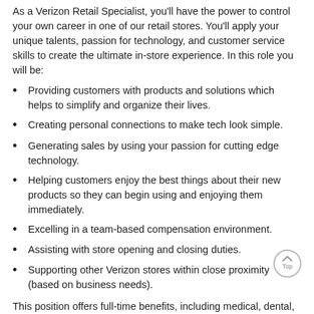As a Verizon Retail Specialist, you'll have the power to control your own career in one of our retail stores. You'll apply your unique talents, passion for technology, and customer service skills to create the ultimate in-store experience. In this role you will be:
Providing customers with products and solutions which helps to simplify and organize their lives.
Creating personal connections to make tech look simple.
Generating sales by using your passion for cutting edge technology.
Helping customers enjoy the best things about their new products so they can begin using and enjoying them immediately.
Excelling in a team-based compensation environment.
Assisting with store opening and closing duties.
Supporting other Verizon stores within close proximity (based on business needs).
This position offers full-time benefits, including medical, dental,